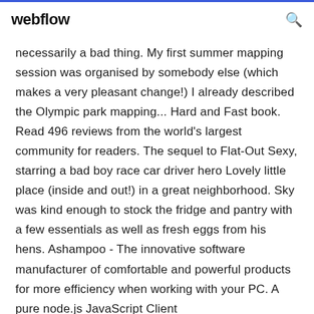webflow
necessarily a bad thing. My first summer mapping session was organised by somebody else (which makes a very pleasant change!) I already described the Olympic park mapping... Hard and Fast book. Read 496 reviews from the world's largest community for readers. The sequel to Flat-Out Sexy, starring a bad boy race car driver hero Lovely little place (inside and out!) in a great neighborhood. Sky was kind enough to stock the fridge and pantry with a few essentials as well as fresh eggs from his hens. Ashampoo - The innovative software manufacturer of comfortable and powerful products for more efficiency when working with your PC. A pure node.js JavaScript Client